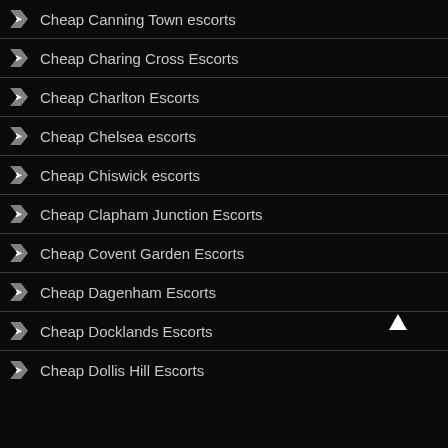Cheap Canning Town escorts
Cheap Charing Cross Escorts
Cheap Charlton Escorts
Cheap Chelsea escorts
Cheap Chiswick escorts
Cheap Clapham Junction Escorts
Cheap Covent Garden Escorts
Cheap Dagenham Escorts
Cheap Docklands Escorts
Cheap Dollis Hill Escorts